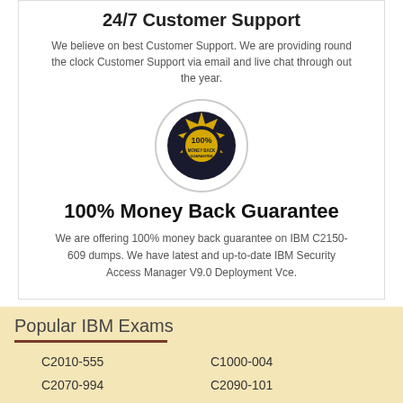24/7 Customer Support
We believe on best Customer Support. We are providing round the clock Customer Support via email and live chat through out the year.
[Figure (illustration): Gold circular badge with '100% MONEY BACK GUARANTEE' text inside a grey circular border]
100% Money Back Guarantee
We are offering 100% money back guarantee on IBM C2150-609 dumps. We have latest and up-to-date IBM Security Access Manager V9.0 Deployment Vce.
Popular IBM Exams
C1000-004
C2090-101
C2010-555
C9530-001
C2070-994
C2010-530
C2090-320
C2150-609